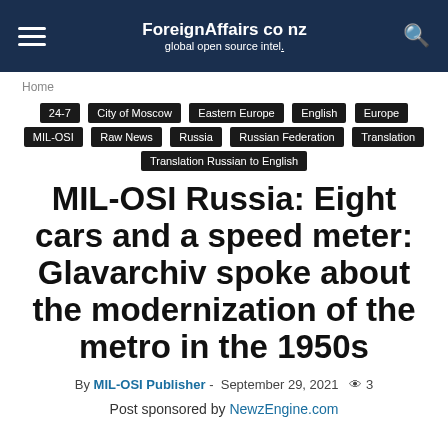ForeignAffairs co nz — global open source intel.
Home
24-7
City of Moscow
Eastern Europe
English
Europe
MIL-OSI
Raw News
Russia
Russian Federation
Translation
Translation Russian to English
MIL-OSI Russia: Eight cars and a speed meter: Glavarchiv spoke about the modernization of the metro in the 1950s
By MIL-OSI Publisher - September 29, 2021  👁 3
Post sponsored by NewzEngine.com